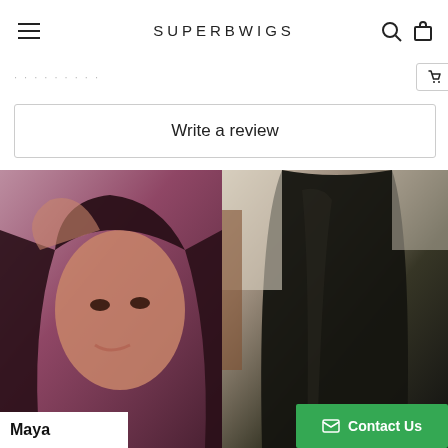SUPERBWIGS
Write a review
[Figure (photo): Left: A young woman with long dark straight hair looking at the camera. Right: A person's hair viewed from behind, showing straight dark hair.]
Maya
Contact Us